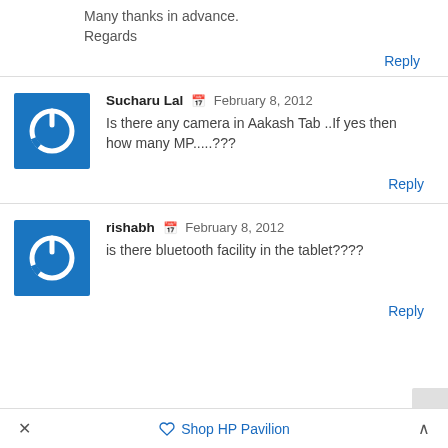Many thanks in advance.
Regards
Reply
Sucharu Lal  February 8, 2012
Is there any camera in Aakash Tab ..If yes then how many MP.....???
Reply
rishabh  February 8, 2012
is there bluetooth facility in the tablet????
Reply
× Shop HP Pavilion ^